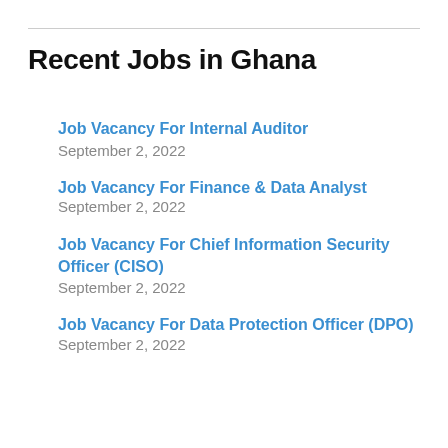Recent Jobs in Ghana
Job Vacancy For Internal Auditor September 2, 2022
Job Vacancy For Finance & Data Analyst September 2, 2022
Job Vacancy For Chief Information Security Officer (CISO) September 2, 2022
Job Vacancy For Data Protection Officer (DPO) September 2, 2022